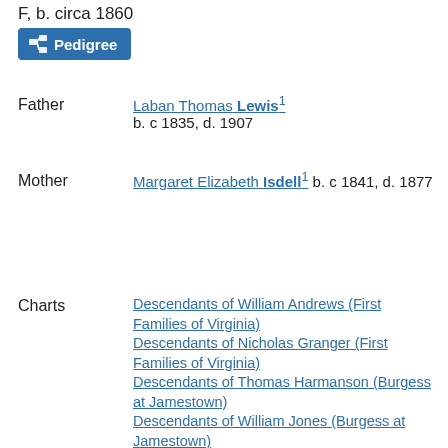F, b. circa 1860
Pedigree
Father
Laban Thomas Lewis1 b. c 1835, d. 1907
Mother
Margaret Elizabeth Isdell1 b. c 1841, d. 1877
Charts
Descendants of William Andrews (First Families of Virginia) Descendants of Nicholas Granger (First Families of Virginia) Descendants of Thomas Harmanson (Burgess at Jamestown) Descendants of William Jones (Burgess at Jamestown) Descendants of Richard Kell...